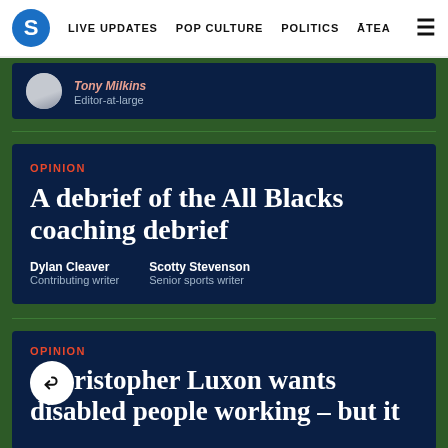S | LIVE UPDATES | POP CULTURE | POLITICS | ĀTEA
Editor-at-large
A debrief of the All Blacks coaching debrief
Dylan Cleaver
Contributing writer
Scotty Stevenson
Senior sports writer
Christopher Luxon wants disabled people working – but it
OPINION